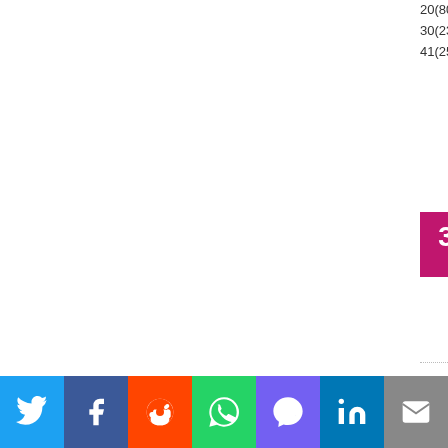20(800), 21(1500), 30(2300), 34(200..., 41(2500), 46, 66(
[Figure (infographic): 3GB RAM badge (magenta) and 256G memory badge (purple)]
Samsung Ga...
★★★☆☆ 6.2/10
15  6
LTE band 1(2100), 5(850), 7(2600), 8... 18(800), 19(800), 28(700), 32(1500), 41(2500), 66(170... CDMA 800 / 1900, LTE band 1(2100), 5(850), 7(2600), 8...
[Figure (infographic): Social media share bar: Twitter, Facebook, Reddit, WhatsApp, Viber, LinkedIn, Email]